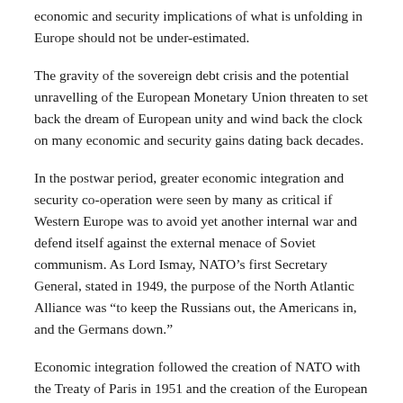economic and security implications of what is unfolding in Europe should not be under-estimated.
The gravity of the sovereign debt crisis and the potential unravelling of the European Monetary Union threaten to set back the dream of European unity and wind back the clock on many economic and security gains dating back decades.
In the postwar period, greater economic integration and security co-operation were seen by many as critical if Western Europe was to avoid yet another internal war and defend itself against the external menace of Soviet communism. As Lord Ismay, NATO’s first Secretary General, stated in 1949, the purpose of the North Atlantic Alliance was “to keep the Russians out, the Americans in, and the Germans down.”
Economic integration followed the creation of NATO with the Treaty of Paris in 1951 and the creation of the European Coal and Steel Community. This in turn laid the foundations for the Treaty of Rome in 1957 and the